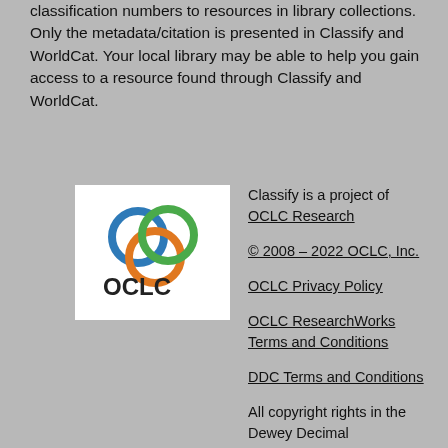classification numbers to resources in library collections. Only the metadata/citation is presented in Classify and WorldCat. Your local library may be able to help you gain access to a resource found through Classify and WorldCat.
[Figure (logo): OCLC logo with three overlapping colored circles (blue, orange, green) above the text OCLC on a white background.]
Classify is a project of OCLC Research
© 2008 – 2022 OCLC, Inc.
OCLC Privacy Policy
OCLC ResearchWorks Terms and Conditions
DDC Terms and Conditions
All copyright rights in the Dewey Decimal Classification System are owned by OCLC, Inc.
Dewey, Dewey Decimal...